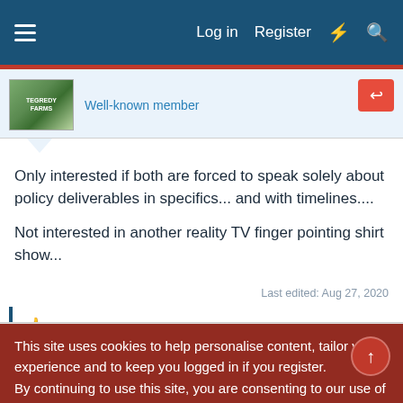Log in   Register
Well-known member
Only interested if both are forced to speak solely about policy deliverables in specifics... and with timelines....
Not interested in another reality TV finger pointing shirt show...
Last edited: Aug 27, 2020
Eeyore
This site uses cookies to help personalise content, tailor your experience and to keep you logged in if you register.
By continuing to use this site, you are consenting to our use of cookies.